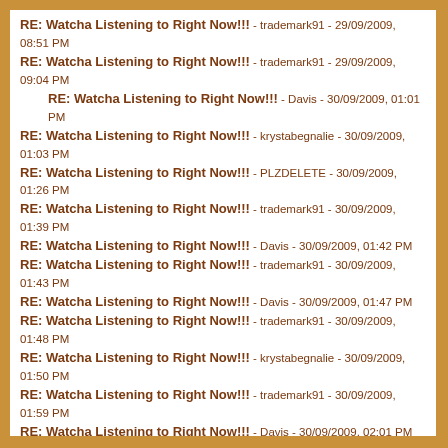RE: Watcha Listening to Right Now!!! - trademark91 - 29/09/2009, 08:51 PM
RE: Watcha Listening to Right Now!!! - trademark91 - 29/09/2009, 09:04 PM
RE: Watcha Listening to Right Now!!! - Davis - 30/09/2009, 01:01 PM
RE: Watcha Listening to Right Now!!! - krystabegnalie - 30/09/2009, 01:03 PM
RE: Watcha Listening to Right Now!!! - PLZDELETE - 30/09/2009, 01:26 PM
RE: Watcha Listening to Right Now!!! - trademark91 - 30/09/2009, 01:39 PM
RE: Watcha Listening to Right Now!!! - Davis - 30/09/2009, 01:42 PM
RE: Watcha Listening to Right Now!!! - trademark91 - 30/09/2009, 01:43 PM
RE: Watcha Listening to Right Now!!! - Davis - 30/09/2009, 01:47 PM
RE: Watcha Listening to Right Now!!! - trademark91 - 30/09/2009, 01:48 PM
RE: Watcha Listening to Right Now!!! - krystabegnalie - 30/09/2009, 01:50 PM
RE: Watcha Listening to Right Now!!! - trademark91 - 30/09/2009, 01:59 PM
RE: Watcha Listening to Right Now!!! - Davis - 30/09/2009, 02:01 PM
RE: Watcha Listening to Right Now!!! - trademark91 - 30/09/2009, 02:02 PM